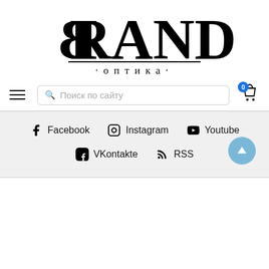[Figure (logo): BRAND Optika logo with large stylized text 'BRAND' (B mirrored) and subtitle '·оптика·' below a horizontal line]
Поиск по сайту
Facebook  Instagram  Youtube
VKontakte  RSS